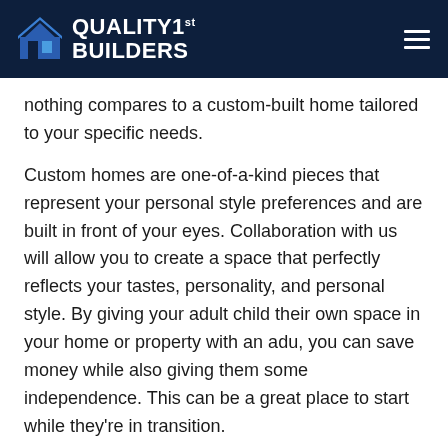QUALITY 1st BUILDERS
nothing compares to a custom-built home tailored to your specific needs.
Custom homes are one-of-a-kind pieces that represent your personal style preferences and are built in front of your eyes. Collaboration with us will allow you to create a space that perfectly reflects your tastes, personality, and personal style. By giving your adult child their own space in your home or property with an adu, you can save money while also giving them some independence. This can be a great place to start while they’re in transition.